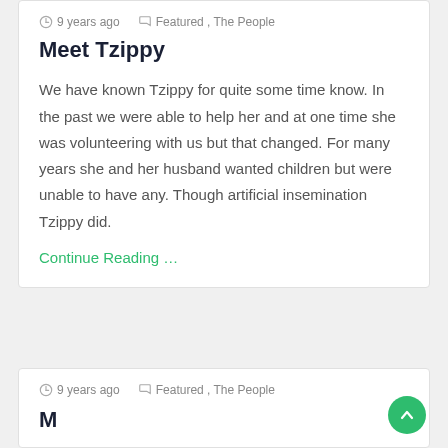9 years ago  Featured , The People
Meet Tzippy
We have known Tzippy for quite some time know. In the past we were able to help her and at one time she was volunteering with us but that changed. For many years she and her husband wanted children but were unable to have any. Though artificial insemination Tzippy did.
Continue Reading …
9 years ago  Featured , The People